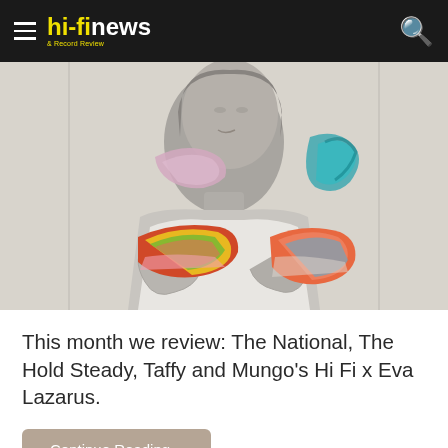hi-fi news & Record Review
[Figure (photo): Album cover art for 'I Am Easy To Find' — black and white photo of a woman with colorful paint brush strokes overlaid (pink, teal, red/yellow/green, orange-red/blue). Text 'I AM EASY TO' visible vertically on the right side.]
This month we review: The National, The Hold Steady, Taffy and Mungo's Hi Fi x Eva Lazarus.
Continue Reading »